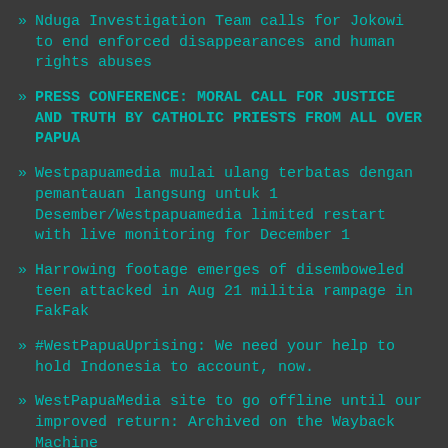Nduga Investigation Team calls for Jokowi to end enforced disappearances and human rights abuses
PRESS CONFERENCE: MORAL CALL FOR JUSTICE AND TRUTH BY CATHOLIC PRIESTS FROM ALL OVER PAPUA
Westpapuamedia mulai ulang terbatas dengan pemantauan langsung untuk 1 Desember/Westpapuamedia limited restart with live monitoring for December 1
Harrowing footage emerges of disemboweled teen attacked in Aug 21 militia rampage in FakFak
#WestPapuaUprising: We need your help to hold Indonesia to account, now.
WestPapuaMedia site to go offline until our improved return: Archived on the Wayback Machine
JUBI: The turtle population in Kaimana, West Papua Province is almost extinct
JUBI: After shooting incident, Freeport workers continue plan to strike